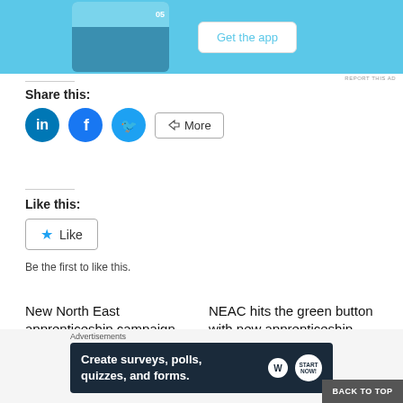[Figure (screenshot): App advertisement banner with phone screenshot and 'Get the app' button on blue background]
REPORT THIS AD
Share this:
[Figure (infographic): Social share icons: LinkedIn, Facebook, Twitter circles and a More button]
Like this:
[Figure (infographic): Like button with star icon]
Be the first to like this.
New North East apprenticeship campaign tops 400 – Business News
NEAC hits the green button with new apprenticeship initiative
Advertisements
[Figure (screenshot): Advertisement banner: Create surveys, polls, quizzes, and forms. WordPress logo and badge.]